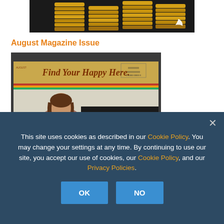[Figure (photo): Stacked gold coins with a leaf logo watermark in the lower right corner]
August Magazine Issue
[Figure (photo): Magazine cover showing 'Find Your Happy Here.' title with rainbow stripes, a woman's photo, and 'DEFINE YOUR' text at the bottom]
This site uses cookies as described in our Cookie Policy. You may change your settings at any time. By continuing to use our site, you accept our use of cookies, our Cookie Policy, and our Privacy Policies.
OK
NO